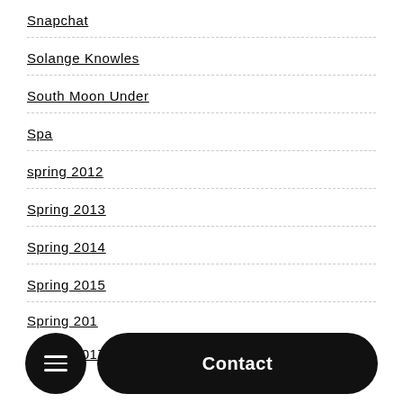Snapchat
Solange Knowles
South Moon Under
Spa
spring 2012
Spring 2013
Spring 2014
Spring 2015
Spring 201…
Spring 2017